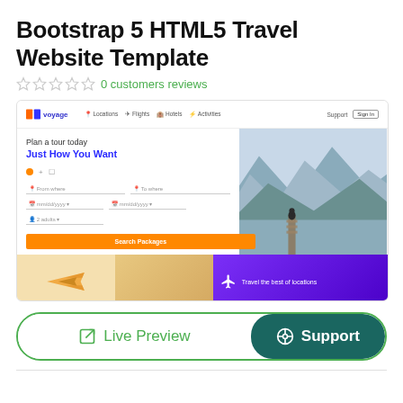Bootstrap 5 HTML5 Travel Website Template
0 customers reviews
[Figure (screenshot): Screenshot of a travel website template called 'voyage' featuring a hero section with 'Plan a tour today / Just How You Want' headline, search form with from/to fields, date pickers, passenger selector, and 'Search Packages' button. Right side shows a mountain lake photo. Bottom section has a plane silhouette, a couple photo, and a purple banner saying 'Travel the best of locations'.]
Live Preview
Support